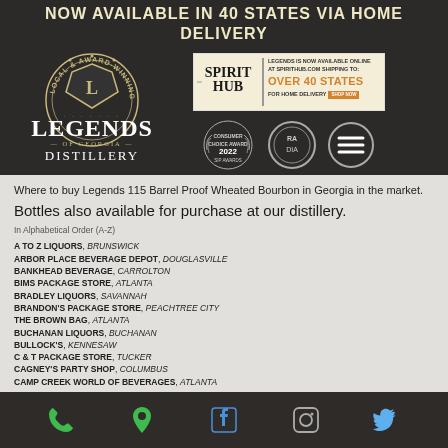NOW AVAILABLE IN 40 STATES VIA HOME DELIVERY
[Figure (logo): Legends of Georgia Distillery logo - Local & Award-Winning circular badge with L crest emblem and stylized text]
[Figure (infographic): Spirit Hub advertisement box - Legends is now available online at spirithub.com shipping to OVER 40 STATES for home delivery with SHOP NOW button]
[Figure (infographic): Three circular badges: Consumer Choice Award 2022 SIP Awards, circular stamp badge, and hamburger menu icon]
Where to buy Legends 115 Barrel Proof Wheated Bourbon in Georgia in the market.
Bottles also available for purchase at our distillery.
In Alphabetical Order (A-Z)
A TO Z LIQUORS, BRUNSWICK
ARBOR PLACE BEVERAGE DEPOT, DOUGLASVILLE
BANKHEAD BEVERAGE, CARROLTON
BIMS PACKAGE STORE, ATLANTA
BRADLEY LIQUORS, SAVANNAH
BRANDON'S PACKAGE STORE, PEACHTREE CITY
THE BROWN BAG, ATLANTA
BUCHANAN LIQUORS, BUCHANAN
BULLOCK'S, KENNESAW
C & T PACKAGE STORE, TUCKER
CAGNEY'S PARTY SHOP, COLUMBUS
CAMP CREEK WORLD OF BEVERAGES, ATLANTA
Phone, Location, Facebook, Instagram, Twitter icons